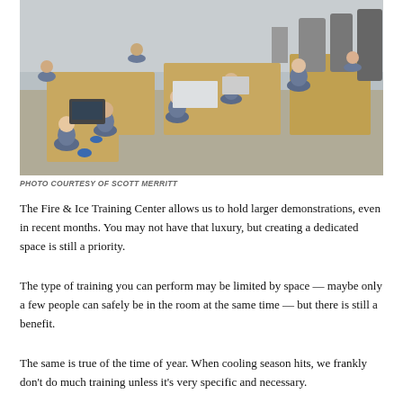[Figure (photo): Overhead view of a training workshop room with multiple people in blue shirts and masks working at wooden workbenches with equipment and tools. The Fire & Ice Training Center.]
PHOTO COURTESY OF SCOTT MERRITT
The Fire & Ice Training Center allows us to hold larger demonstrations, even in recent months. You may not have that luxury, but creating a dedicated space is still a priority.
The type of training you can perform may be limited by space — maybe only a few people can safely be in the room at the same time — but there is still a benefit.
The same is true of the time of year. When cooling season hits, we frankly don't do much training unless it's very specific and necessary.